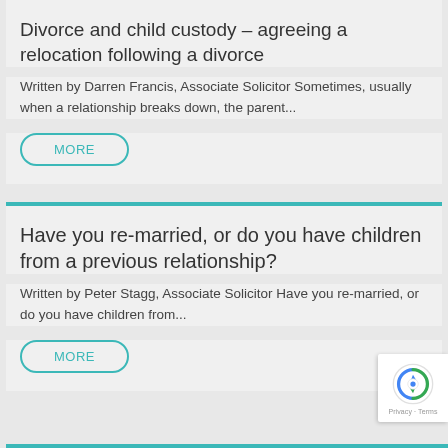Divorce and child custody – agreeing a relocation following a divorce
Written by Darren Francis, Associate Solicitor Sometimes, usually when a relationship breaks down, the parent...
Have you re-married, or do you have children from a previous relationship?
Written by Peter Stagg, Associate Solicitor Have you re-married, or do you have children from...